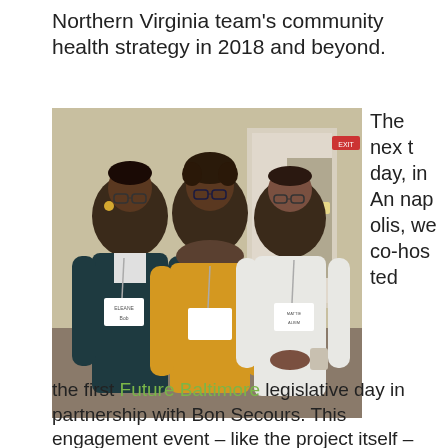Northern Virginia team's community health strategy in 2018 and beyond.
[Figure (photo): Three older Black women standing together indoors, each wearing name tags/lanyards. The woman on the left wears a dark teal jacket, the one in the middle wears a yellow sweater with a patterned scarf, and the one on the right wears a white top.]
The next day, in Annapolis, we co-hosted
the first Future Baltimore legislative day in partnership with Bon Secours. This engagement event – like the project itself –embodied the project motto: Nothing About Me Without Me. With the